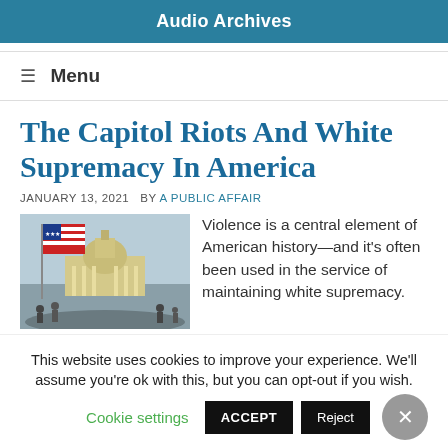Audio Archives
≡ Menu
The Capitol Riots And White Supremacy In America
JANUARY 13, 2021  BY A PUBLIC AFFAIR
[Figure (photo): Photo of the U.S. Capitol building with a large American flag in the foreground and a crowd of people around it]
Violence is a central element of American history—and it's often been used in the service of maintaining white supremacy. Today on the show, We hear…
This website uses cookies to improve your experience. We'll assume you're ok with this, but you can opt-out if you wish.
Cookie settings  ACCEPT  Reject